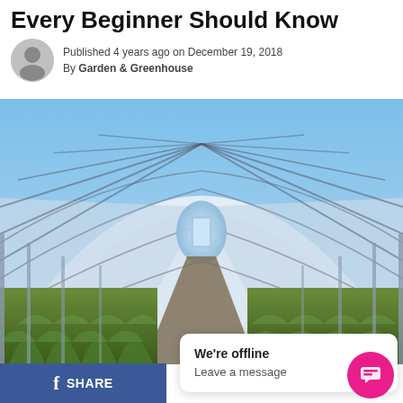Every Beginner Should Know
Published 4 years ago on December 19, 2018
By Garden & Greenhouse
[Figure (photo): Interior of a large tunnel greenhouse with rows of green plants growing under a curved translucent roof, perspective shot toward a small door at the far end.]
We're offline
Leave a message
SHARE